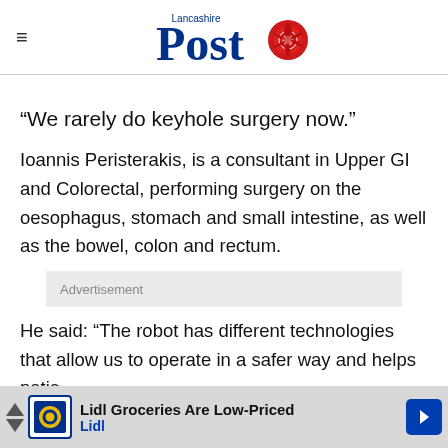Lancashire Post
“We rarely do keyhole surgery now.”
Ioannis Peristerakis, is a consultant in Upper GI and Colorectal, performing surgery on the oesophagus, stomach and small intestine, as well as the bowel, colon and rectum.
Advertisement
He said: “The robot has different technologies that allow us to operate in a safer way and helps patie…
[Figure (other): Lidl advertisement banner at bottom: 'Lidl Groceries Are Low-Priced' with Lidl logo]